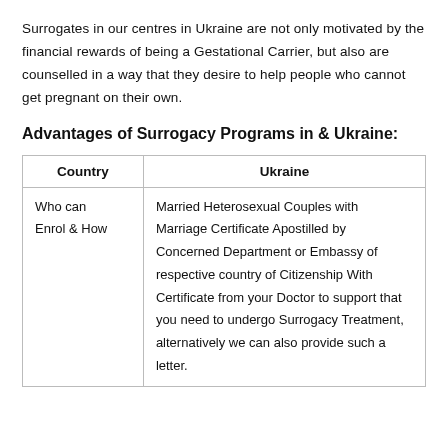Surrogates in our centres in Ukraine are not only motivated by the financial rewards of being a Gestational Carrier, but also are counselled in a way that they desire to help people who cannot get pregnant on their own.
Advantages of Surrogacy Programs in & Ukraine:
| Country | Ukraine |
| --- | --- |
| Who can Enrol & How | Married Heterosexual Couples with Marriage Certificate Apostilled by Concerned Department or Embassy of respective country of Citizenship With Certificate from your Doctor to support that you need to undergo Surrogacy Treatment, alternatively we can also provide such a letter. |